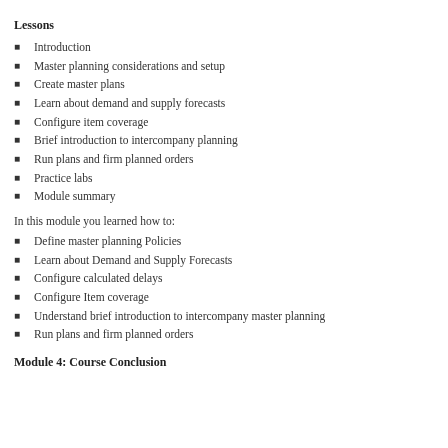Lessons
Introduction
Master planning considerations and setup
Create master plans
Learn about demand and supply forecasts
Configure item coverage
Brief introduction to intercompany planning
Run plans and firm planned orders
Practice labs
Module summary
In this module you learned how to:
Define master planning Policies
Learn about Demand and Supply Forecasts
Configure calculated delays
Configure Item coverage
Understand brief introduction to intercompany master planning
Run plans and firm planned orders
Module 4: Course Conclusion